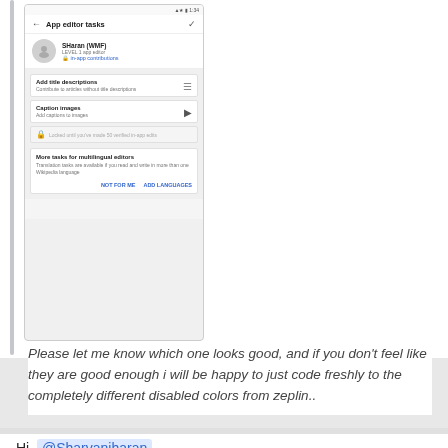[Figure (screenshot): Mobile app screenshot showing 'App editor tasks' screen with user SHaran (WMF), tasks including 'Add title descriptions' and 'Caption images', a locked task, and 'More tasks for multilingual editors' section with NOT FOR ME and ADD LANGUAGES buttons.]
Please let me know which one looks good, and if you don't feel like they are good enough i will be happy to just code freshly to the completely different disabled colors from zeplin..
Hi @Sharvaniharan
Just FYI the standard alpha I'd been using is .56 on the *text*, whilst the background has the same .56 alpha. If you apply the alpha on the text as well the first screenshot should look a lot better as disabled